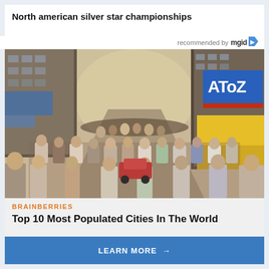North american silver star championships
recommended by mgid
[Figure (photo): Crowded street scene in a busy Indian city with tall buildings, storefronts including an 'AtoZ' sign, and a large crowd of people filling the street.]
BRAINBERRIES
Top 10 Most Populated Cities In The World
LEARN MORE →